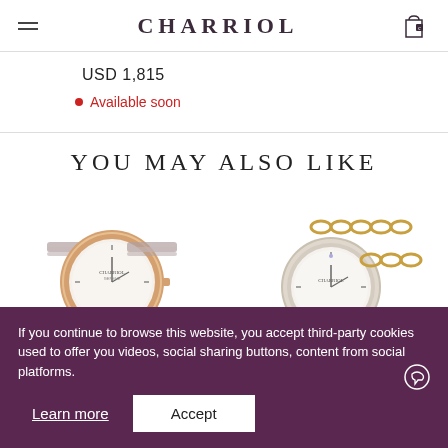CHARRIOL
USD 1,815
Available soon
YOU MAY ALSO LIKE
[Figure (photo): Two luxury Charriol watches with cable bracelets; left watch has rose gold bezel with white mother-of-pearl dial; right watch has gold chain bracelet with white dial]
If you continue to browse this website, you accept third-party cookies used to offer you videos, social sharing buttons, content from social platforms.
Learn more
Accept